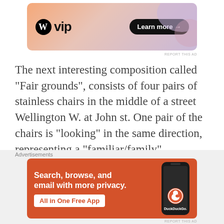[Figure (screenshot): WordPress VIP advertisement banner with gradient background (orange to purple), WordPress logo, 'vip' text, and 'Learn more →' button in black pill shape]
REPORT THIS AD
The next interesting composition called “Fair grounds”, consists of four pairs of stainless chairs in the middle of a street Wellington W. at John st. One pair of the chairs is “looking” in the same direction, representing a “familiar/family” relationship. The 2nd pair is “arguing” as they are set back to back, just like when two people don’t want to look at or talk
Advertisements
[Figure (screenshot): DuckDuckGo advertisement banner on orange background. Text: 'Search, browse, and email with more privacy. All in One Free App' with a phone image and DuckDuckGo logo/duck icon]